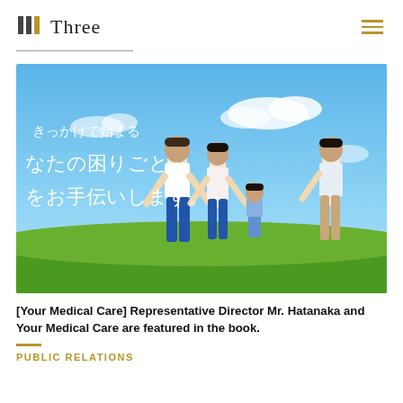Three
[Figure (photo): A family of four (father, mother, young daughter, and a young adult) walking hand-in-hand on a grassy hill against a bright blue sky with white clouds. Japanese text overlay reads: きっかけで始まる / あなたの困りごと」/ をお手伝いします。]
[Your Medical Care] Representative Director Mr. Hatanaka and Your Medical Care are featured in the book.
PUBLIC RELATIONS